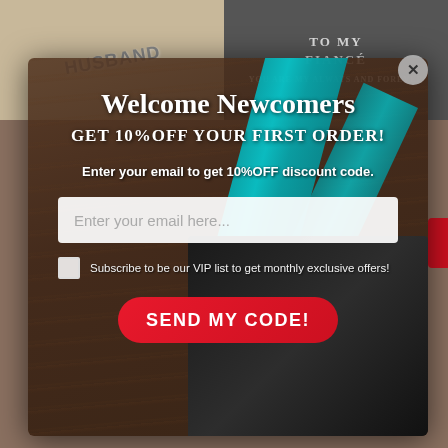[Figure (screenshot): Background product images: left shows a gift with 'HUSBAND' text, right shows a circular dark badge reading 'TO MY FIANCÉ']
[Figure (screenshot): Modal popup overlay with dark wood-textured background and teal ribbon gift image. Contains welcome offer for newcomers.]
Welcome Newcomers
GET 10%OFF YOUR FIRST ORDER!
Enter your email to get 10%OFF discount code.
Enter your email here...
Subscribe to be our VIP list to get monthly exclusive offers!
SEND MY CODE!